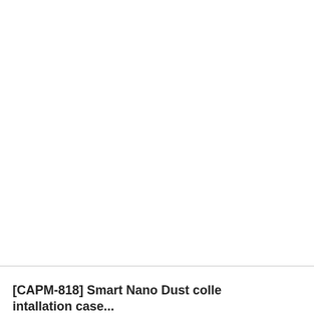[Figure (screenshot): White empty area in upper portion of page with border lines forming a grid layout]
[CAPM-818] Smart Nano Dust coll... intallation case...
[Figure (infographic): Blue Contact US button with envelope icon]
[Figure (infographic): Gray Catalog button with open book icon]
Currently selected products
Smart product